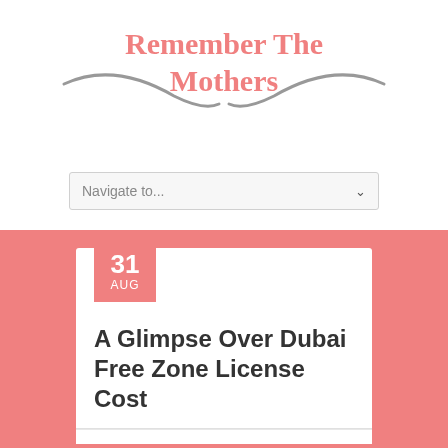Remember The Mothers
[Figure (logo): Logo with text 'Remember The Mothers' in pink serif font with gray swoosh/curved line decorations on each side]
Navigate to...
31 AUG
A Glimpse Over Dubai Free Zone License Cost